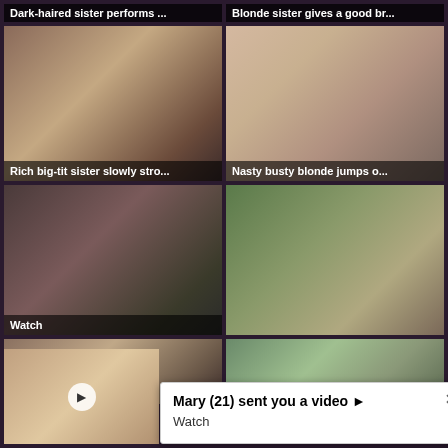[Figure (screenshot): Video thumbnail grid page showing adult video content with titles and a popup notification overlay]
Dark-haired sister performs ...
Blonde sister gives a good br...
Rich big-tit sister slowly stro...
Nasty busty blonde jumps o...
Watch
Mary (21) sent you a video ▶
Watch